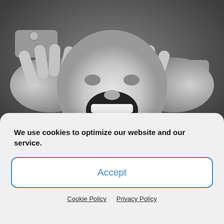[Figure (photo): Black and white photo of a person screaming with hands on face, wearing a shirt with cufflinks, viewed from above.]
Person Block
Person block subtitle
block text block text block text block text block text block text block text block text block text block text block text block text basat block text block text block text block text block text block text block text block
We use cookies to optimize our website and our service.
Accept
Cookie Policy   Privacy Policy